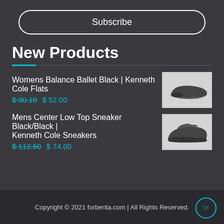Subscribe
New Products
Womens Balance Ballet Black | Kenneth Cole Flats $ 90.10  $ 52.00
[Figure (photo): Black ballet flat shoe product image]
Mens Center Low Top Sneaker Black/Black | Kenneth Cole Sneakers $ 112.50  $ 74.00
[Figure (photo): Black low top sneaker product image]
Copyright © 2021 forberita.com | All Rights Reserved.